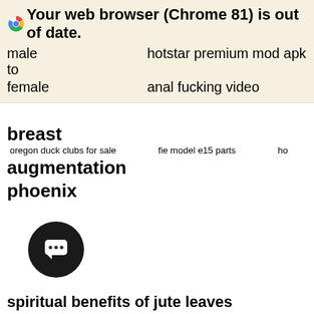Your web browser (Chrome 81) is out of date.
male to female   hotstar premium mod apk
female   anal fucking video
breast augmentation phoenix
oregon duck clubs for sale   fie model e15 parts   ho
[Figure (other): Chat widget button - dark circle with speech bubble icon and ellipsis]
spiritual benefits of jute leaves